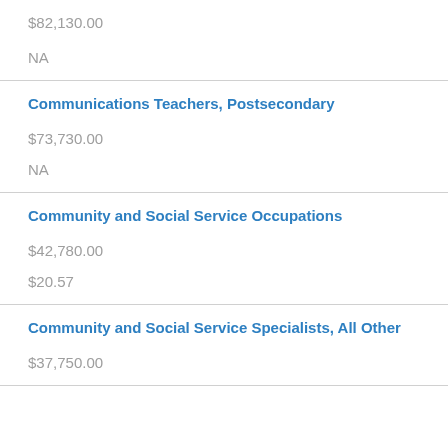| $82,130.00 | NA |
| Communications Teachers, Postsecondary | $73,730.00 | NA |
| Community and Social Service Occupations | $42,780.00 | $20.57 |
| Community and Social Service Specialists, All Other | $37,750.00 |